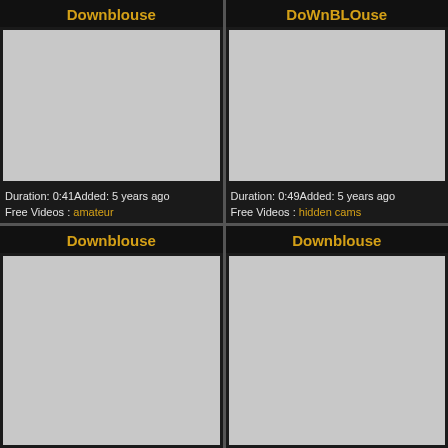Downblouse
[Figure (photo): Gray placeholder thumbnail for Downblouse video]
Duration: 0:41Added: 5 years ago
Free Videos : amateur
DoWnBLOuse
[Figure (photo): Gray placeholder thumbnail for DoWnBLOuse video]
Duration: 0:49Added: 5 years ago
Free Videos : hidden cams
Downblouse
[Figure (photo): Gray placeholder thumbnail for Downblouse video (bottom left)]
Downblouse
[Figure (photo): Gray placeholder thumbnail for Downblouse video (bottom right)]